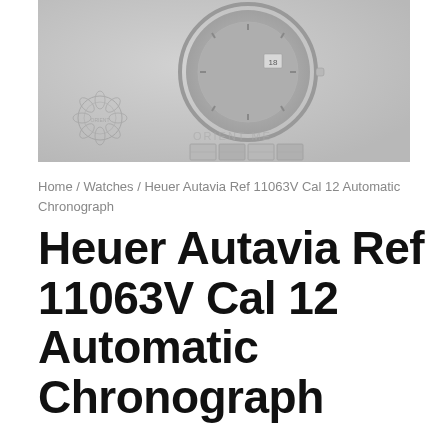[Figure (photo): Photograph of a Heuer Autavia watch showing the dial and bracelet, with Orient Me watermark overlay, in grayscale]
Home / Watches / Heuer Autavia Ref 11063V Cal 12 Automatic Chronograph
Heuer Autavia Ref 11063V Cal 12 Automatic Chronograph